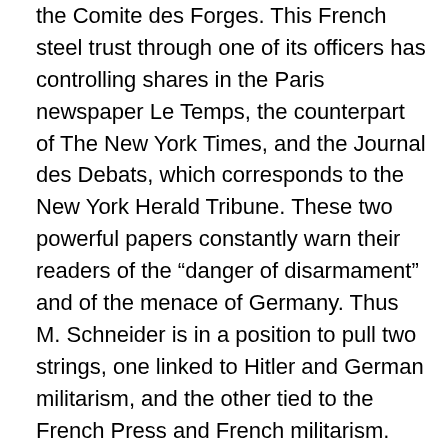the Comite des Forges. This French steel trust through one of its officers has controlling shares in the Paris newspaper Le Temps, the counterpart of The New York Times, and the Journal des Debats, which corresponds to the New York Herald Tribune. These two powerful papers constantly warn their readers of the “danger of disarmament” and of the menace of Germany. Thus M. Schneider is in a position to pull two strings, one linked to Hitler and German militarism, and the other tied to the French Press and French militarism. Arms merchants have long carried on a profitable business arming the potential enemies of their own country. In England today in Bedford Park there is a canon captured by the British from the Germans during the World War. It bears a British trademark, for it was sold to Germany by a British firm before the war. English companies also sold mines to the Turks by which the